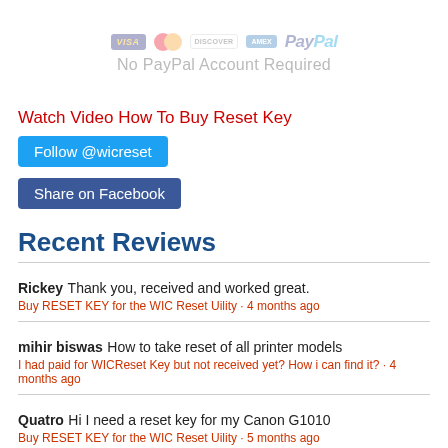[Figure (illustration): Payment method logos: Visa, Mastercard, Discover, Amex, PayPal]
No PayPal Account Required
Watch Video How To Buy Reset Key
Follow @wicreset
Share on Facebook
Recent Reviews
Rickey Thank you, received and worked great.
Buy RESET KEY for the WIC Reset Uility · 4 months ago
mihir biswas How to take reset of all printer models
I had paid for WICReset Key but not received yet? How i can find it? · 4 months ago
Quatro Hi I need a reset key for my Canon G1010
Buy RESET KEY for the WIC Reset Uility · 5 months ago